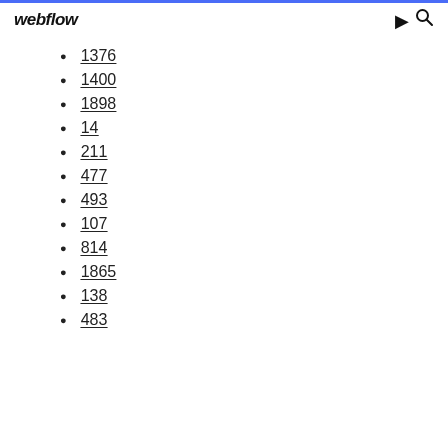webflow
1376
1400
1898
14
211
477
493
107
814
1865
138
483